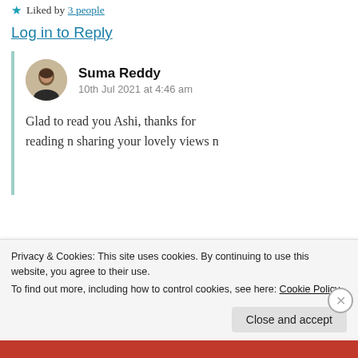Liked by 3 people
Log in to Reply
Suma Reddy
10th Jul 2021 at 4:46 am
Glad to read you Ashi, thanks for reading n sharing your lovely views n
Privacy & Cookies: This site uses cookies. By continuing to use this website, you agree to their use.
To find out more, including how to control cookies, see here: Cookie Policy
Close and accept